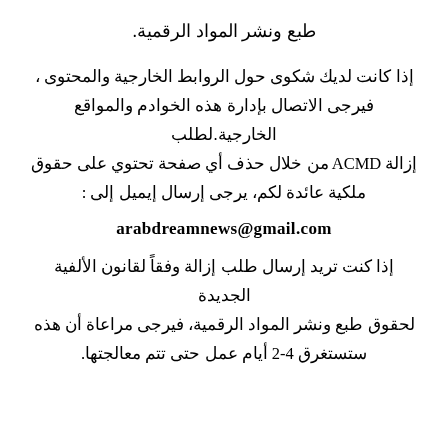طبع ونشر المواد الرقمية.
إذا كانت لديك شكوى حول الروابط الخارجية والمحتوى ، فيرجى الاتصال بإدارة هذه الخوادم والمواقع الخارجية.لطلب إزالة DMCA من خلال حذف أي صفحة تحتوي على حقوق ملكية عائدة لكم، يرجى إرسال إيميل إلى :
arabdreamnews@gmail.com
إذا كنت تريد إرسال طلب إزالة وفقاً لقانون الألفية الجديدة لحقوق طبع ونشر المواد الرقمية، فيرجى مراعاة أن هذه ستستغرق 4-2 أيام عمل حتى تتم معالجتها.